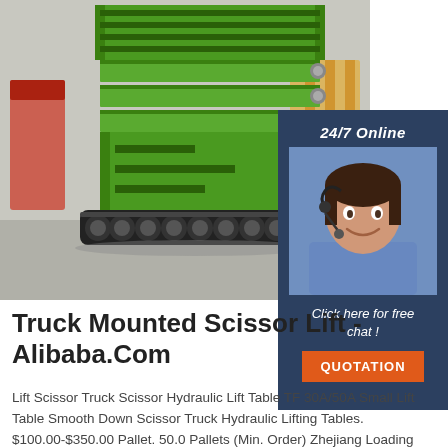[Figure (photo): Green tracked scissor lift machine photographed in a warehouse/factory setting. The machine has rubber tank-style tracks at the bottom, a green metal frame, and stacked scissor lift platform mechanism.]
[Figure (photo): Overlay panel on the right side with dark navy background showing a customer service agent (woman with headset, smiling) and text '24/7 Online', 'Click here for free chat!', and an orange QUOTATION button.]
Truck Mounted Scissor Lift - Alibaba.Com
Lift Scissor Truck Scissor Hydraulic Lift Table TF 30A/50A Small Lift Table Smooth Down Scissor Truck Hydraulic Lifting Tables. $100.00-$350.00 Pallet. 50.0 Pallets (Min. Order) Zhejiang Loading